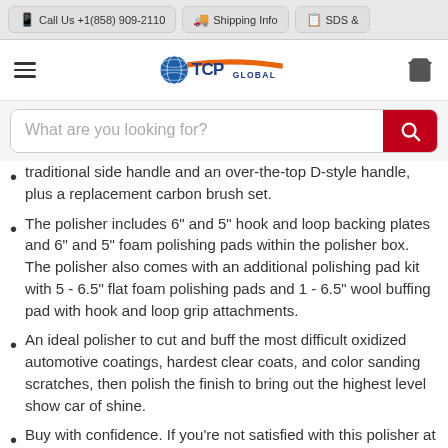Call Us +1(858) 909-2110 | Shipping Info | SDS &
[Figure (logo): TCP Global logo with globe icon and orange swoosh]
What are you looking for?
traditional side handle and an over-the-top D-style handle, plus a replacement carbon brush set.
The polisher includes 6" and 5" hook and loop backing plates and 6" and 5" foam polishing pads within the polisher box. The polisher also comes with an additional polishing pad kit with 5 - 6.5" flat foam polishing pads and 1 - 6.5" wool buffing pad with hook and loop grip attachments.
An ideal polisher to cut and buff the most difficult oxidized automotive coatings, hardest clear coats, and color sanding scratches, then polish the finish to bring out the highest level show car of shine.
Buy with confidence. If you're not satisfied with this polisher at any time within one year of purchase, we'll provide a refund or replacement.